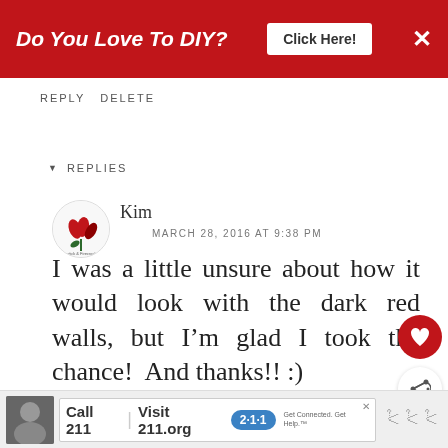[Figure (other): Red banner ad: 'Do You Love To DIY? Click Here!' with X close button]
REPLY   DELETE
REPLIES
[Figure (logo): Avatar with red flower/tulip logo]
Kim
MARCH 28, 2016 AT 9:38 PM
I was a little unsure about how it would look with the dark red walls, but I'm glad I took the chance!  And thanks!! :)
DELETE
[Figure (other): Bottom advertisement bar: Call 211 | Visit 211.org with 2-1-1 logo]
[Figure (other): What's Next arrow with Springtime Swap thumbnail]